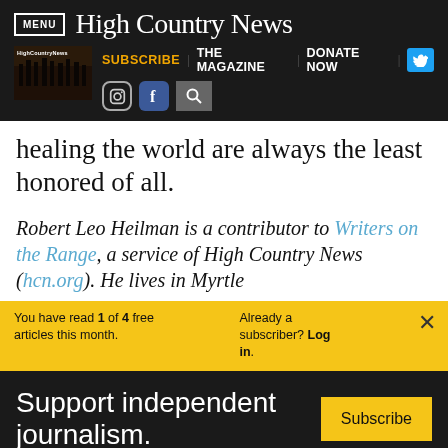MENU | High Country News — navigation bar with SUBSCRIBE | THE MAGAZINE | DONATE NOW | Twitter, Instagram, Facebook, Search icons
healing the world are always the least honored of all.
Robert Leo Heilman is a contributor to Writers on the Range, a service of High Country News (hcn.org). He lives in Myrtle
You have read 1 of 4 free articles this month. Already a subscriber? Log in. ×
Support independent journalism. Subscribe